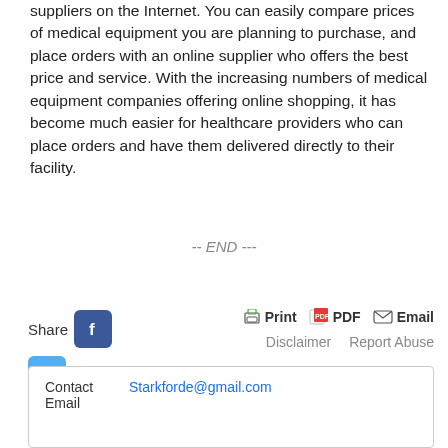suppliers on the Internet. You can easily compare prices of medical equipment you are planning to purchase, and place orders with an online supplier who offers the best price and service. With the increasing numbers of medical equipment companies offering online shopping, it has become much easier for healthcare providers who can place orders and have them delivered directly to their facility.
-- END ---
Share  Print  PDF  Email  Disclaimer  Report Abuse
| Contact Email |  |
| --- | --- |
| Contact Email | Starkforde@gmail.com |